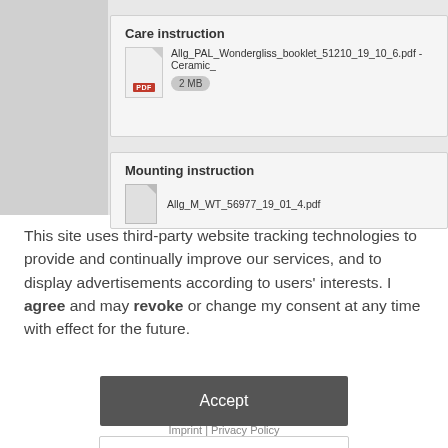Care instruction
Allg_PAL_Wondergliss_booklet_51210_19_10_6.pdf - Ceramic_
2 MB
Mounting instruction
Allg_M_WT_56977_19_01_4.pdf
This site uses third-party website tracking technologies to provide and continually improve our services, and to display advertisements according to users' interests. I agree and may revoke or change my consent at any time with effect for the future.
Accept
Settings
Imprint | Privacy Policy